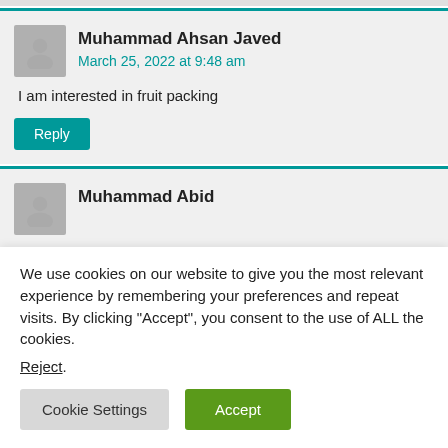Muhammad Ahsan Javed
March 25, 2022 at 9:48 am
I am interested in fruit packing
Reply
Muhammad Abid
We use cookies on our website to give you the most relevant experience by remembering your preferences and repeat visits. By clicking “Accept”, you consent to the use of ALL the cookies.
Reject.
Cookie Settings
Accept